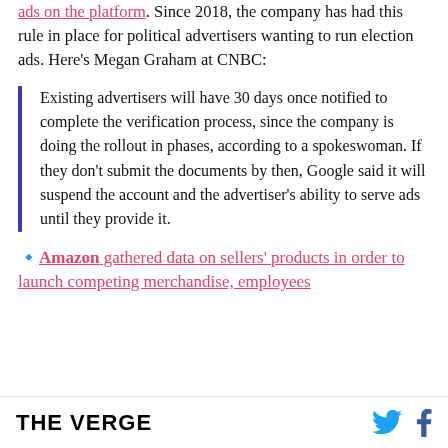ads on the platform. Since 2018, the company has had this rule in place for political advertisers wanting to run election ads. Here's Megan Graham at CNBC:
Existing advertisers will have 30 days once notified to complete the verification process, since the company is doing the rollout in phases, according to a spokeswoman. If they don't submit the documents by then, Google said it will suspend the account and the advertiser's ability to serve ads until they provide it.
🔹Amazon gathered data on sellers' products in order to launch competing merchandise, employees
THE VERGE